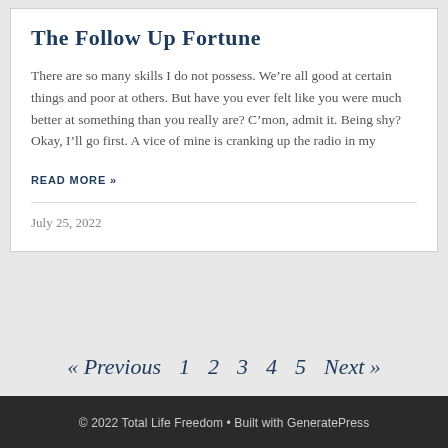The Follow Up Fortune
There are so many skills I do not possess. We’re all good at certain things and poor at others. But have you ever felt like you were much better at something than you really are? C’mon, admit it. Being shy? Okay, I’ll go first. A vice of mine is cranking up the radio in my
READ MORE »
July 25, 2022
« Previous 1 2 3 4 5 Next »
© 2022 Total Life Freedom • Built with GeneratePress